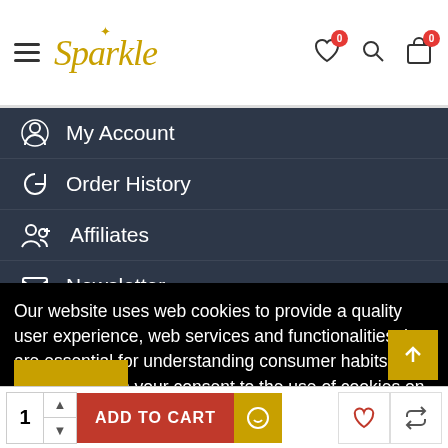[Figure (screenshot): Sparkle e-commerce website header with hamburger menu, logo, wishlist icon with badge 0, search icon, and cart icon with badge 0]
My Account
Order History
Affiliates
Newsletter
Gift Certificates
Our website uses web cookies to provide a quality user experience, web services and functionalities that are essential for understanding consumer habits. Please confirm your consent to the use of cookies on our pages by clicking "YES".